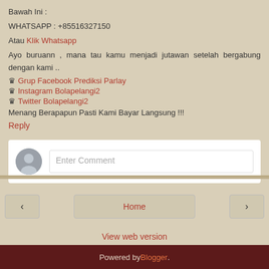Bawah Ini :
WHATSAPP : +85516327150
Atau Klik Whatsapp
Ayo buruann , mana tau kamu menjadi jutawan setelah bergabung dengan kami ..
♛ Grup Facebook Prediksi Parlay
♛ Instagram Bolapelangi2
♛ Twitter Bolapelangi2
Menang Berapapun Pasti Kami Bayar Langsung !!!
Reply
[Figure (other): Comment input box with user avatar placeholder and Enter Comment text field]
< Home > View web version Powered by Blogger.